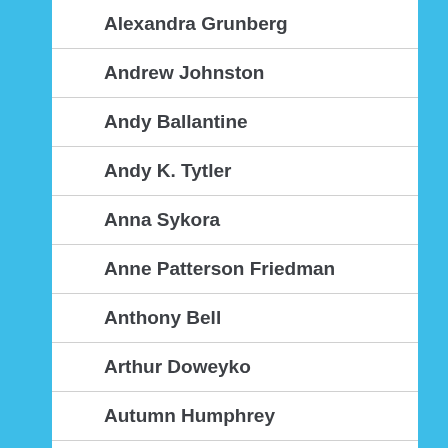Alexandra Grunberg
Andrew Johnston
Andy Ballantine
Andy K. Tytler
Anna Sykora
Anne Patterson Friedman
Anthony Bell
Arthur Doweyko
Autumn Humphrey